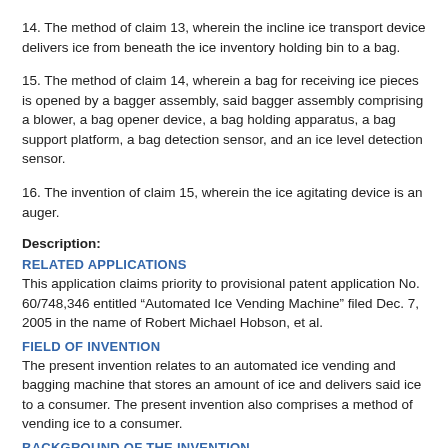14. The method of claim 13, wherein the incline ice transport device delivers ice from beneath the ice inventory holding bin to a bag.
15. The method of claim 14, wherein a bag for receiving ice pieces is opened by a bagger assembly, said bagger assembly comprising a blower, a bag opener device, a bag holding apparatus, a bag support platform, a bag detection sensor, and an ice level detection sensor.
16. The invention of claim 15, wherein the ice agitating device is an auger.
Description:
RELATED APPLICATIONS
This application claims priority to provisional patent application No. 60/748,346 entitled “Automated Ice Vending Machine” filed Dec. 7, 2005 in the name of Robert Michael Hobson, et al.
FIELD OF INVENTION
The present invention relates to an automated ice vending and bagging machine that stores an amount of ice and delivers said ice to a consumer. The present invention also comprises a method of vending ice to a consumer.
BACKGROUND OF THE INVENTION